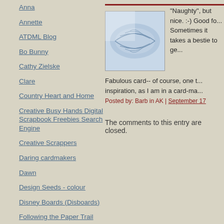Anna
Annette
ATDML Blog
Bo Bunny
Cathy Zielske
Clare
Country Heart and Home
Creative Busy Hands Digital Scrapbook Freebies Search Engine
Creative Scrappers
Daring cardmakers
Dawn
Design Seeds - colour
Disney Boards (Disboards)
Following the Paper Trail
Fruit of my scraps
Glittery Katie
Happysnappy - Paula
[Figure (photo): Thumbnail image showing a blue and white leaf pattern design]
"Naughty", but nice. :-) Good fo... Sometimes it takes a bestie to ge...
Fabulous card-- of course, one t... inspiration, as I am in a card-ma...
Posted by: Barb in AK | September 17
The comments to this entry are closed.